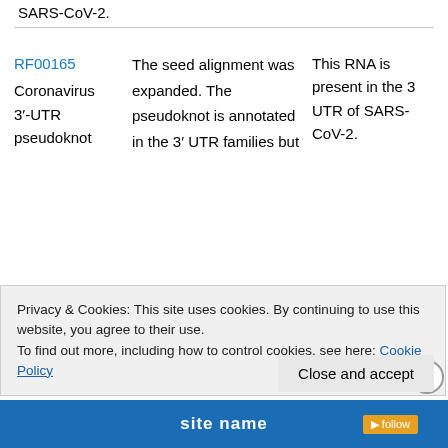SARS-CoV-2.
| ID | Description | Notes |
| --- | --- | --- |
| RF00165 Coronavirus 3'-UTR pseudoknot | The seed alignment was expanded. The pseudoknot is annotated in the 3' UTR families but | This RNA is present in the 3 UTR of SARS-CoV-2. |
Privacy & Cookies: This site uses cookies. By continuing to use this website, you agree to their use.
To find out more, including how to control cookies, see here: Cookie Policy
Close and accept